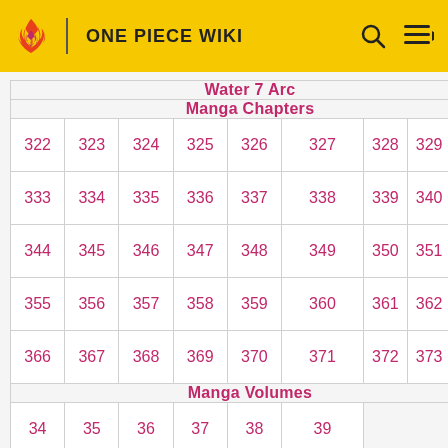ONE PIECE WIKI
| Water 7 Arc |
| --- |
| Manga Chapters |
| 322 | 323 | 324 | 325 | 326 | 327 | 328 | 329 | 3… |
| 333 | 334 | 335 | 336 | 337 | 338 | 339 | 340 | 3… |
| 344 | 345 | 346 | 347 | 348 | 349 | 350 | 351 | 3… |
| 355 | 356 | 357 | 358 | 359 | 360 | 361 | 362 | 3… |
| 366 | 367 | 368 | 369 | 370 | 371 | 372 | 373 | 3… |
| Manga Volumes |
| 34 | 35 | 36 | 37 | 38 | 39 |
| Anime Episodes |